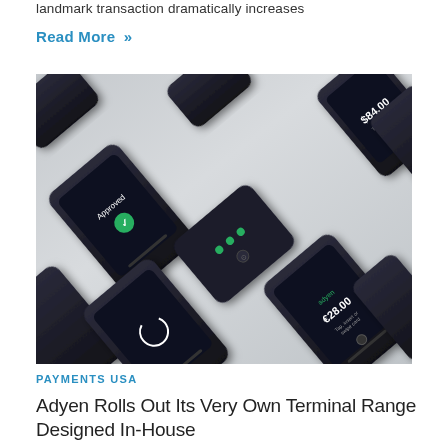landmark transaction dramatically increases
Read More »
[Figure (photo): Array of Adyen payment terminals arranged diagonally on a light background, showing various screens including 'Approved', '$84.00', and '€28.00' displays.]
PAYMENTS USA
Adyen Rolls Out Its Very Own Terminal Range Designed In-House